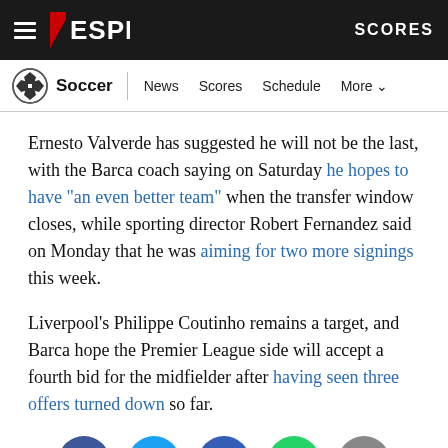ESPN Soccer — News Scores Schedule More | SCORES
Ernesto Valverde has suggested he will not be the last, with the Barca coach saying on Saturday he hopes to have "an even better team" when the transfer window closes, while sporting director Robert Fernandez said on Monday that he was aiming for two more signings this week.
Liverpool's Philippe Coutinho remains a target, and Barca hope the Premier League side will accept a fourth bid for the midfielder after having seen three offers turned down so far.
[Figure (infographic): Social sharing icons row: Facebook (blue circle), Twitter (light blue circle), Messenger (dark blue circle), WhatsApp (green circle), Email (grey circle)]